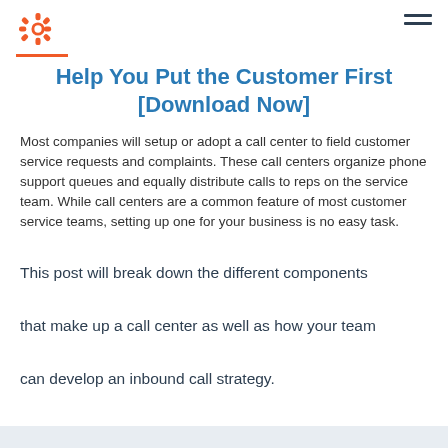HubSpot logo and navigation
Help You Put the Customer First [Download Now]
Most companies will setup or adopt a call center to field customer service requests and complaints. These call centers organize phone support queues and equally distribute calls to reps on the service team. While call centers are a common feature of most customer service teams, setting up one for your business is no easy task.
This post will break down the different components that make up a call center as well as how your team can develop an inbound call strategy.